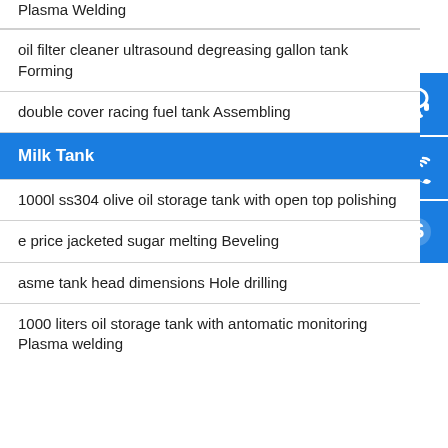Plasma Welding
oil filter cleaner ultrasound degreasing gallon tank Forming
double cover racing fuel tank Assembling
Milk Tank
1000l ss304 olive oil storage tank with open top polishing
e price jacketed sugar melting Beveling
asme tank head dimensions Hole drilling
1000 liters oil storage tank with antomatic monitoring Plasma welding